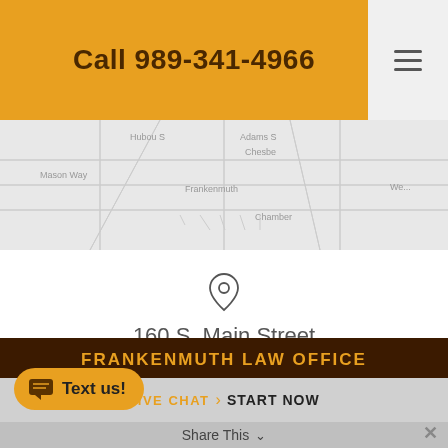Call 989-341-4966
[Figure (map): Street map of Frankenmuth area showing road layout in light gray tones]
160 S. Main Street
Suite 4
Frankenmuth, MI 48734
FRANKENMUTH LAW OFFICE
LIVE CHAT  START NOW
Text us!
Share This